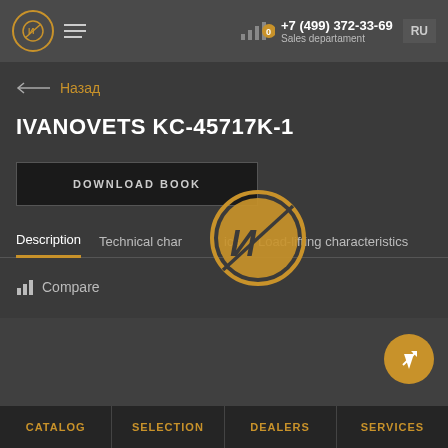+7 (499) 372-33-69 Sales departament RU
← Назад
IVANOVETS KC-45717K-1
DOWNLOAD BOOK
Description   Technical characteristics   Load-lifting characteristics
Compare
[Figure (logo): Ivanovets circular logo with stylized letter И in orange on dark background, shown as watermark in center of page]
CATALOG   SELECTION   DEALERS   SERVICES